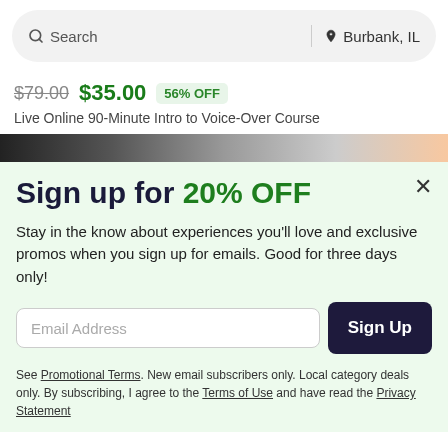Search | Burbank, IL
$79.00 $35.00 56% OFF
Live Online 90-Minute Intro to Voice-Over Course
Sign up for 20% OFF
Stay in the know about experiences you'll love and exclusive promos when you sign up for emails. Good for three days only!
Email Address
Sign Up
See Promotional Terms. New email subscribers only. Local category deals only. By subscribing, I agree to the Terms of Use and have read the Privacy Statement